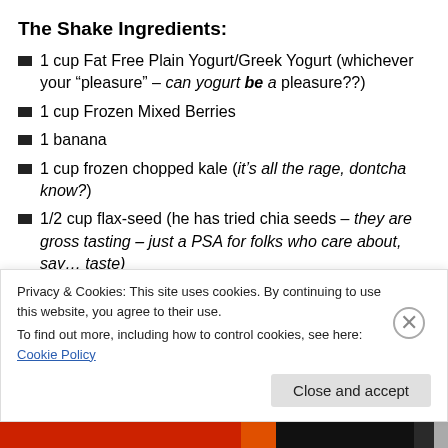The Shake Ingredients:
1 cup Fat Free Plain Yogurt/Greek Yogurt (whichever your “pleasure” – can yogurt be a pleasure??)
1 cup Frozen Mixed Berries
1 banana
1 cup frozen chopped kale (it’s all the rage, dontcha know?)
1/2 cup flax-seed (he has tried chia seeds – they are gross tasting – just a PSA for folks who care about, say… taste)
Privacy & Cookies: This site uses cookies. By continuing to use this website, you agree to their use.
To find out more, including how to control cookies, see here: Cookie Policy
Close and accept